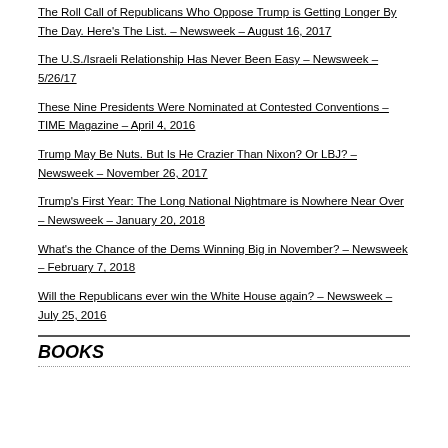The Roll Call of Republicans Who Oppose Trump is Getting Longer By The Day. Here's The List. – Newsweek – August 16, 2017
The U.S./Israeli Relationship Has Never Been Easy – Newsweek – 5/26/17
These Nine Presidents Were Nominated at Contested Conventions – TIME Magazine – April 4, 2016
Trump May Be Nuts. But Is He Crazier Than Nixon? Or LBJ? – Newsweek – November 26, 2017
Trump's First Year: The Long National Nightmare is Nowhere Near Over – Newsweek – January 20, 2018
What's the Chance of the Dems Winning Big in November? – Newsweek – February 7, 2018
Will the Republicans ever win the White House again? – Newsweek – July 25, 2016
BOOKS